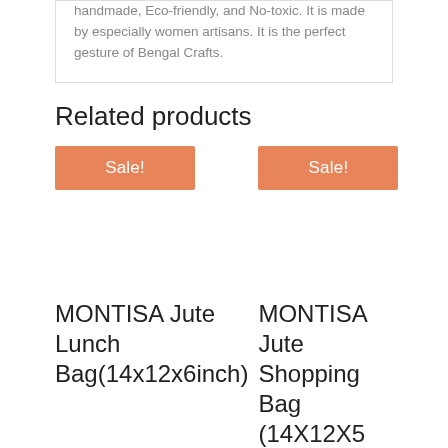handmade, Eco-friendly, and No-toxic. It is made by especially women artisans. It is the perfect gesture of Bengal Crafts.
Related products
[Figure (other): Sale! button badge (orange) for first product]
[Figure (other): Sale! button badge (orange) for second product]
MONTISA Jute Lunch Bag(14x12x6inch)
MONTISA Jute Shopping Bag (14X12X5 Inch)